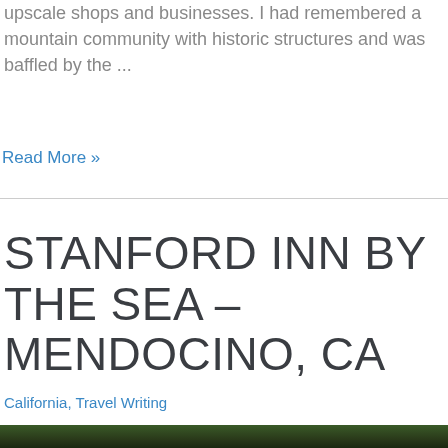upscale shops and businesses. I had remembered a mountain community with historic structures and was baffled by the ...
Read More »
STANFORD INN BY THE SEA – MENDOCINO, CA
California, Travel Writing
[Figure (photo): Bottom edge of a photograph showing treetops against the sky, partially visible at the bottom of the page.]